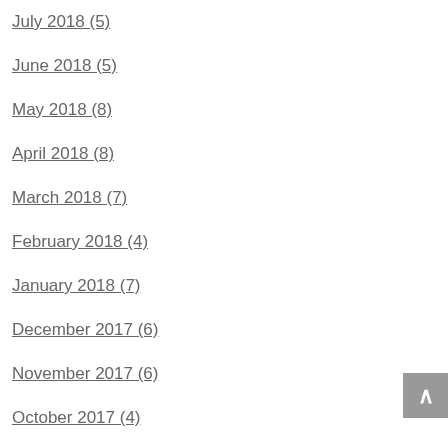July 2018 (5)
June 2018 (5)
May 2018 (8)
April 2018 (8)
March 2018 (7)
February 2018 (4)
January 2018 (7)
December 2017 (6)
November 2017 (6)
October 2017 (4)
September 2017 (4)
August 2017 (6)